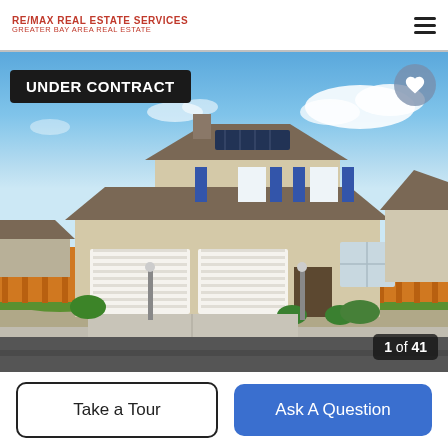RE/MAX REAL ESTATE SERVICES
GREATER BAY AREA REAL ESTATE
[Figure (photo): Exterior photo of a two-story suburban home with solar panels on the roof, beige stucco exterior, blue shutters, three-car garage, green lawn, orange fences on both sides, blue sky with white clouds. Badge reads UNDER CONTRACT. Heart/favorite button in top right. Photo counter shows 1 of 41.]
UNDER CONTRACT
1 of 41
Take a Tour
Ask A Question